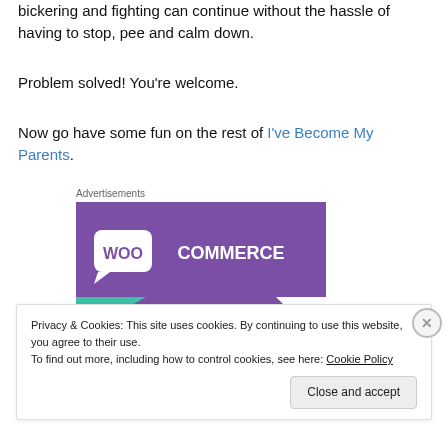bickering and fighting can continue without the hassle of having to stop, pee and calm down.
Problem solved! You're welcome.
Now go have some fun on the rest of I've Become My Parents.
[Figure (other): WooCommerce advertisement banner with purple background and teal geometric accent]
Privacy & Cookies: This site uses cookies. By continuing to use this website, you agree to their use.
To find out more, including how to control cookies, see here: Cookie Policy
Close and accept